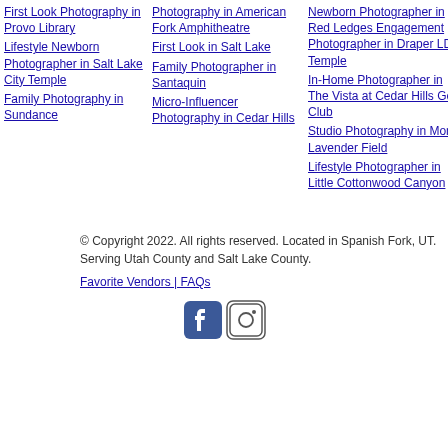First Look Photography in Provo Library
Lifestyle Newborn Photographer in Salt Lake City Temple
Family Photography in Sundance
Photography in American Fork Amphitheatre
First Look in Salt Lake
Family Photographer in Santaquin
Micro-Influencer Photography in Cedar Hills
Newborn Photographer in Red Ledges Engagement Photographer in Draper LDS Temple
In-Home Photographer in The Vista at Cedar Hills Golf Club
Studio Photography in Mona Lavender Field
Lifestyle Photographer in Little Cottonwood Canyon
© Copyright 2022. All rights reserved. Located in Spanish Fork, UT. Serving Utah County and Salt Lake County.
Favorite Vendors | FAQs